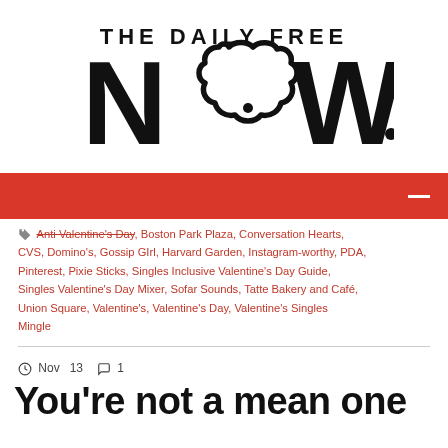[Figure (logo): The Daily Free NOW logo — bold sans-serif text 'THE DAILY FREE' above large stylized 'NOW' with a cloud/thought-bubble shape replacing the letter O]
[Figure (other): Red navigation bar with white horizontal line (hamburger menu icon) on the right]
Anti Valentine's Day, Boston Park Plaza, Conversation Hearts, CVS, Domino's, Gossip Girl, Harvard Garden, Instagram-worthy, PDA, Pinterest, Pixie Sticks, Singles Inclusive Valentine's Day Guide, Singles Valentine's Day Mixer, Sofar Sounds, Tatte Bakery and Café, Union Square, Valentine's, Valentine's Day, Valentine's Singles Mingle
Nov 13  1
You're not a mean one